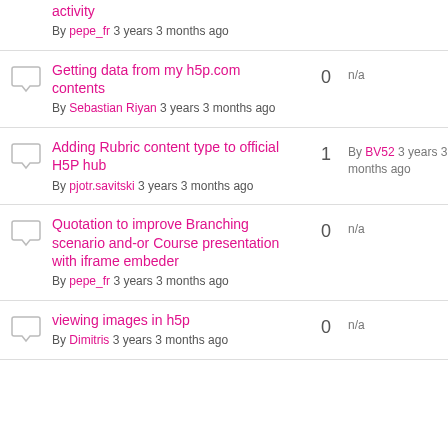activity — By pepe_fr 3 years 3 months ago
Getting data from my h5p.com contents — By Sebastian Riyan 3 years 3 months ago — 0 replies — n/a
Adding Rubric content type to official H5P hub — By pjotr.savitski 3 years 3 months ago — 1 reply — By BV52 3 years 3 months ago
Quotation to improve Branching scenario and-or Course presentation with iframe embeder — By pepe_fr 3 years 3 months ago — 0 replies — n/a
viewing images in h5p — By Dimitris 3 years 3 months ago — 0 replies — n/a